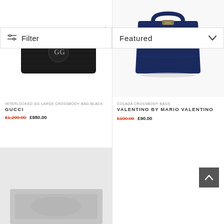[Figure (photo): Black Gucci Interlocked GG Large Crossbody Bag with gold chain strap on white background]
[Figure (photo): Navy blue Valentino by Mario Valentino Colada Crossbody Bag on light background]
Filter
Featured
INTERLOCKED GG LARGE CROSSBODY BAG BLACK
GUCCI
£1,200.00  £980.00
COLADA CROSSBODY BAGS
VALENTINO BY MARIO VALENTINO
£100.00  £90.00
[Figure (photo): Partial view of a product image at the bottom of the page]